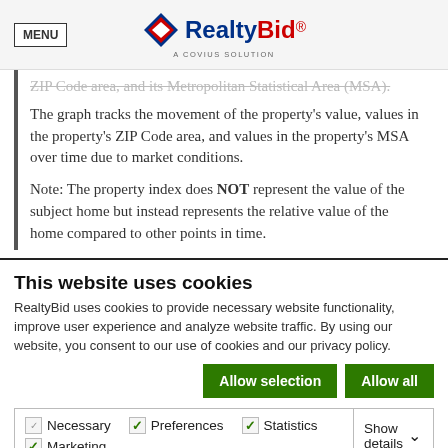MENU | RealtyBid® A COVIUS SOLUTION
ZIP Code area, and its Metropolitan Statistical Area (MSA). The graph tracks the movement of the property's value, values in the property's ZIP Code area, and values in the property's MSA over time due to market conditions.

Note: The property index does NOT represent the value of the subject home but instead represents the relative value of the home compared to other points in time.
This website uses cookies
RealtyBid uses cookies to provide necessary website functionality, improve user experience and analyze website traffic. By using our website, you consent to our use of cookies and our privacy policy.
Allow selection | Allow all
Necessary  Preferences  Statistics  Marketing  Show details